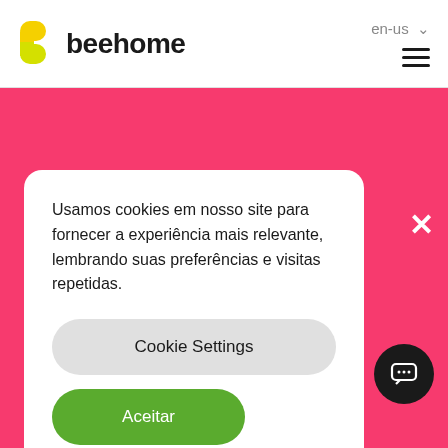[Figure (logo): Beehome logo with yellow B icon and beehome wordmark]
en-us ∨
[Figure (other): Hamburger menu icon (three horizontal lines)]
[Figure (screenshot): Pink background hero section partially visible with white large text: ...oyees. / s / and / as a]
Usamos cookies em nosso site para fornecer a experiência mais relevante, lembrando suas preferências e visitas repetidas.
Cookie Settings
Aceitar